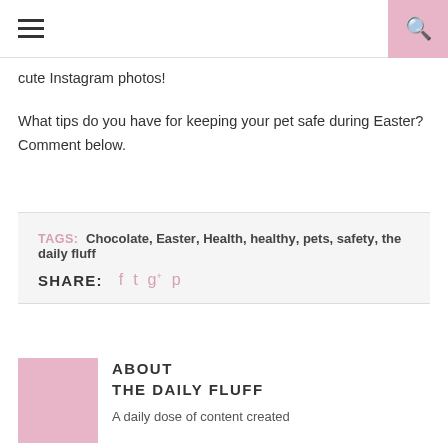Navigation bar with hamburger menu and search icon
cute Instagram photos!
What tips do you have for keeping your pet safe during Easter? Comment below.
TAGS: Chocolate, Easter, Health, healthy, pets, safety, the daily fluff
SHARE: [facebook] [twitter] [google+] [pinterest]
ABOUT THE DAILY FLUFF
A daily dose of content created